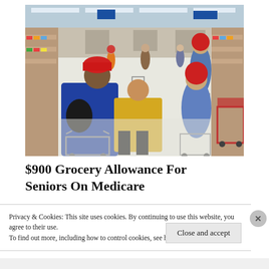[Figure (photo): Interior of a grocery store (resembling Walmart or similar large retailer) showing shoppers pushing carts down a wide aisle. In the foreground, a person in a dark blue jacket and red hat pushes a cart. Beside them, someone in a bright yellow jacket bends forward. In the background, various shoppers and store shelves with products are visible. The store has bright fluorescent lighting and a white floor.]
$900 Grocery Allowance For Seniors On Medicare
Privacy & Cookies: This site uses cookies. By continuing to use this website, you agree to their use.
To find out more, including how to control cookies, see here: Cookie Policy
Close and accept